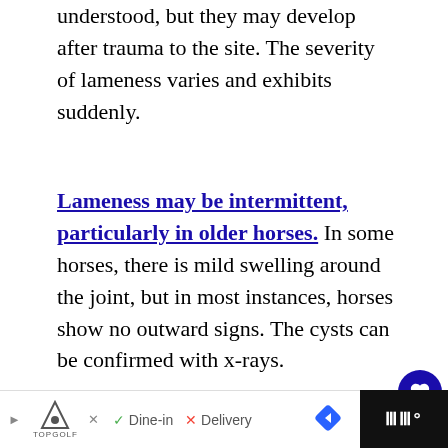understood, but they may develop after trauma to the site. The severity of lameness varies and exhibits suddenly.
Lameness may be intermittent, particularly in older horses. In some horses, there is mild swelling around the joint, but in most instances, horses show no outward signs. The cysts can be confirmed with x-rays.
The lesions can be treated conservatively with rest and steroid injections. If the conservative treatment fails, then surgery to remove the cyst contents and lining is an option.
WHAT'S NEXT → 7 Over-the-Counter Me.... | Dine-in | Delivery